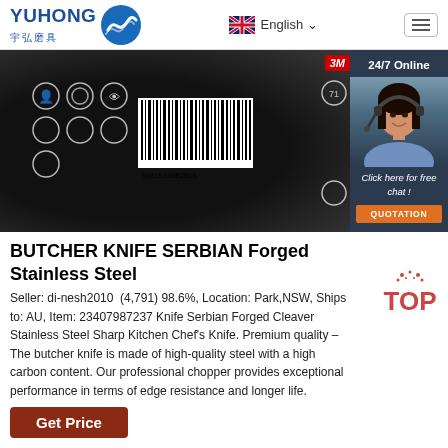YUHONG 宇弘磨具 — English navigation header
[Figure (photo): Close-up photo of a black circular grinding/cutting disc showing safety icons, barcode, and partial 3M label, with a customer service agent panel on the right showing '24/7 Online' text, agent photo with headset, 'Click here for free chat!' text, and an orange QUOTATION button]
BUTCHER KNIFE SERBIAN Forged Stainless Steel
Seller: di-nesh2010  (4,791) 98.6%, Location: Park,NSW, Ships to: AU, Item: 23407987237 Knife Serbian Forged Cleaver Stainless Steel Sharp Kitchen Chef's Knife. Premium quality – The butcher knife is made of high-quality steel with a high carbon content. Our professional chopper provides exceptional performance in terms of edge resistance and longer life.
[Figure (logo): TOP badge with orange/red sparkle dots above and bold red TOP text]
Get Price